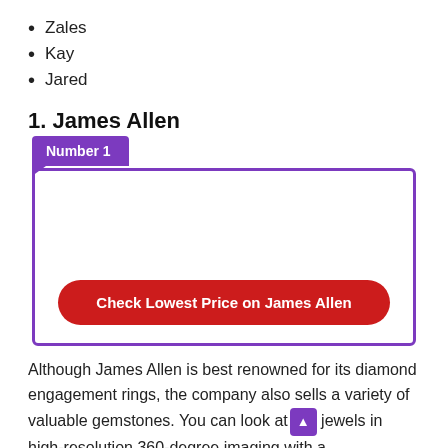Zales
Kay
Jared
1. James Allen
[Figure (infographic): Purple bordered box with 'Number 1' badge/tab in purple at top left, containing a red rounded button labeled 'Check Lowest Price on James Allen']
Although James Allen is best renowned for its diamond engagement rings, the company also sells a variety of valuable gemstones. You can look at jewels in high-resolution 360-degree imaging with a